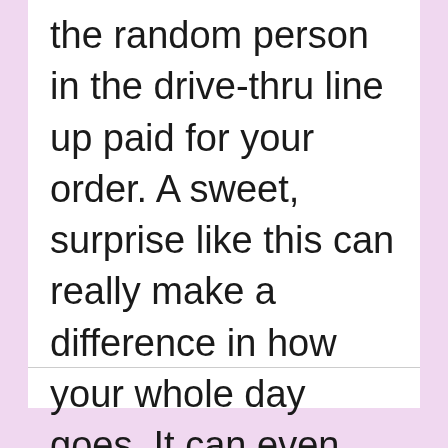compliments out of the blue or the random person in the drive-thru line up paid for your order. A sweet, surprise like this can really make a difference in how your whole day goes. It can even inspire you to do something nice for someone. Kindness can be contagious.